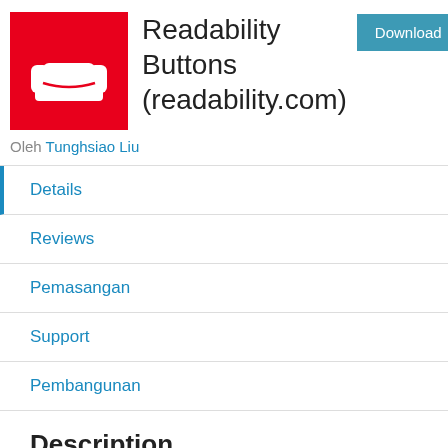[Figure (logo): Red square logo with a white armchair/sofa icon (Readability logo)]
Readability Buttons (readability.com)
Oleh Tunghsiao Liu
Details
Reviews
Pemasangan
Support
Pembangunan
Description
Add readability read later buttons to your...